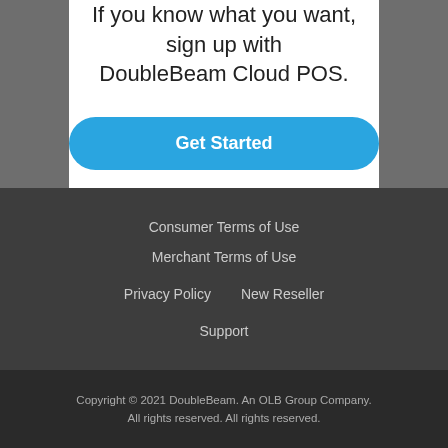If you know what you want, sign up with DoubleBeam Cloud POS.
Get Started
Consumer Terms of Use
Merchant Terms of Use
Privacy Policy
New Reseller
Support
Copyright © 2021 DoubleBeam. An OLB Group Company. All rights reserved. All rights reserved.